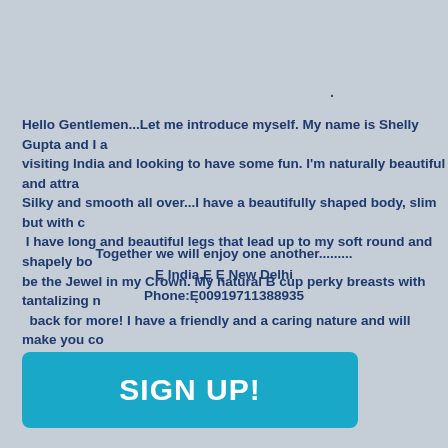Hello Gentlemen...Let me introduce myself. My name is Shelly Gupta and I am visiting India and looking to have some fun. I'm naturally beautiful and attractive. Silky and smooth all over...I have a beautifully shaped body, slim but with curves. I have long and beautiful legs that lead up to my soft round and shapely bo... be the Jewel in my Crown. My natural B cup perky breasts with tantalizing n... back for more! I have a friendly and a caring nature and will make you co... moment we meet.
Together we will enjoy one another......... Ę India,Ę Ę New Delhi Phone:Ę00919711388935
SIGN UP!